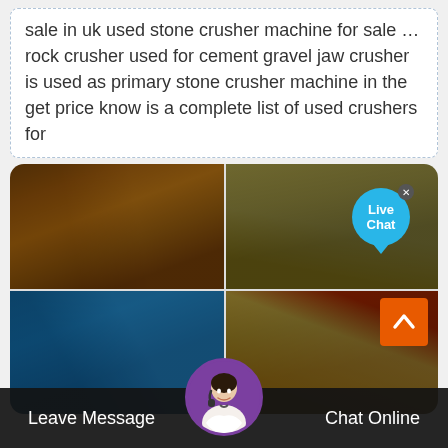sale in uk used stone crusher machine for sale … rock crusher used for cement gravel jaw crusher is used as primary stone crusher machine in the get price know is a complete list of used crushers for
[Figure (photo): A 2x2 grid of industrial stone crusher and mining equipment photos. Top-left: yellow-framed conveyor and crusher machinery with gravel piles. Top-right: yellow industrial crusher/conveyor structure against overcast sky. Bottom-left: blue mobile crusher equipment outdoors with bare trees. Bottom-right: yellow jaw crusher and conveyor belt equipment outdoors. A 'Live Chat' bubble overlay in top-right corner. A scroll-to-top orange button bottom-right.]
Leave Message  Chat Online